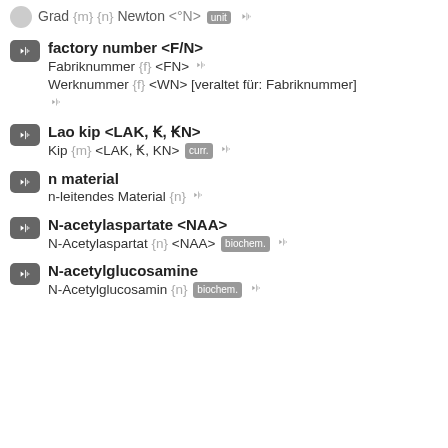Grad {m} {n} Newton <°N> [unit]
factory number <F/N>
Fabriknummer {f} <FN>
Werknummer {f} <WN> [veraltet für: Fabriknummer]
Lao kip <LAK, K, KN>
Kip {m} <LAK, K, KN> [curr.]
n material
n-leitendes Material {n}
N-acetylaspartate <NAA>
N-Acetylaspartat {n} <NAA> [biochem.]
N-acetylglucosamine
N-Acetylglucosamin {n} [biochem.]